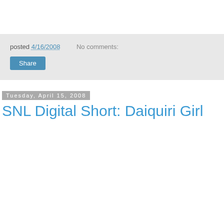posted 4/16/2008   No comments:
Share
Tuesday, April 15, 2008
SNL Digital Short: Daiquiri Girl
Couldn't load plugin.